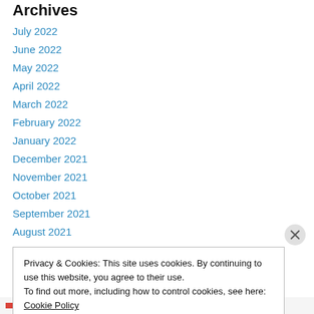Archives
July 2022
June 2022
May 2022
April 2022
March 2022
February 2022
January 2022
December 2021
November 2021
October 2021
September 2021
August 2021
Privacy & Cookies: This site uses cookies. By continuing to use this website, you agree to their use.
To find out more, including how to control cookies, see here: Cookie Policy
Close and accept